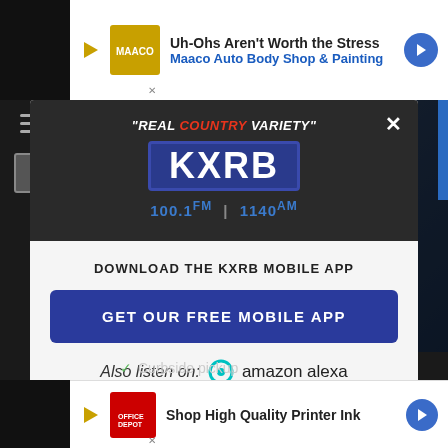[Figure (screenshot): KXRB radio station mobile app download modal popup. Header shows 'REAL COUNTRY VARIETY' tagline with KXRB logo box and '100.1 FM | 1140 AM'. Body shows 'DOWNLOAD THE KXRB MOBILE APP' text, a blue 'GET OUR FREE MOBILE APP' button, and 'Also listen on: amazon alexa' with Alexa ring icon. Background shows website with two advertisement banners.]
"REAL COUNTRY VARIETY"
KXRB
100.1 FM | 1140 AM
DOWNLOAD THE KXRB MOBILE APP
GET OUR FREE MOBILE APP
Also listen on:  amazon alexa
Uh-Ohs Aren't Worth the Stress
Maaco Auto Body Shop & Painting
Shop High Quality Printer Ink
Curbside pickup